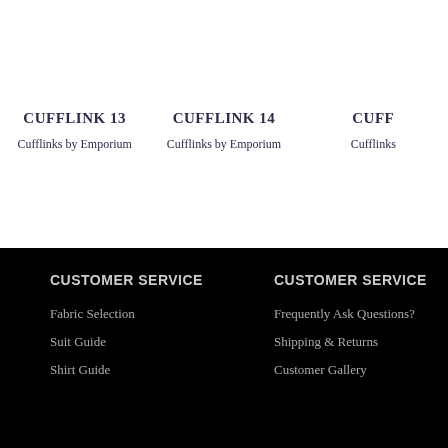CUFFLINK 13
Cufflinks by Emporium
CUFFLINK 14
Cufflinks by Emporium
CUFF
Cufflinks
CUSTOMER SERVICE
Fabric Selection
Suit Guide
Shirt Guide
CUSTOMER SERVICE
Frequently Ask Questions?
Shipping & Returns
Customer Gallery